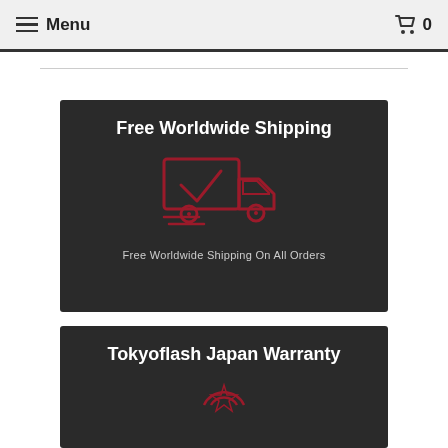Menu   0
[Figure (illustration): Free Worldwide Shipping banner with dark background, delivery truck icon in red, bold white title 'Free Worldwide Shipping' and subtitle 'Free Worldwide Shipping On All Orders']
[Figure (illustration): Tokyoflash Japan Warranty banner with dark background, warranty/shield icon in red, bold white title 'Tokyoflash Japan Warranty']